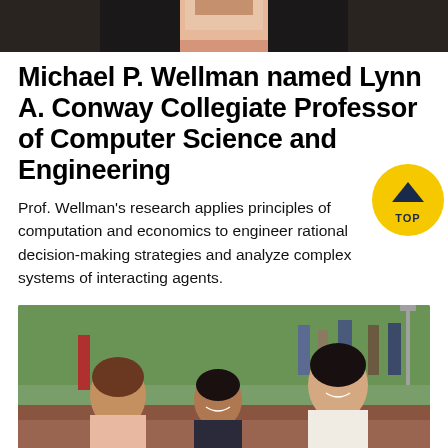[Figure (photo): Top portion of a photo showing a person in a pink/salmon shirt, cropped near the shoulders, dark background]
Michael P. Wellman named Lynn A. Conway Collegiate Professor of Computer Science and Engineering
Prof. Wellman’s research applies principles of computation and economics to engineer rational decision-making strategies and analyze complex systems of interacting agents.
[Figure (photo): Outdoor campus photo showing three young women sitting and talking and laughing together, with other students in the background on a brick pathway with trees]